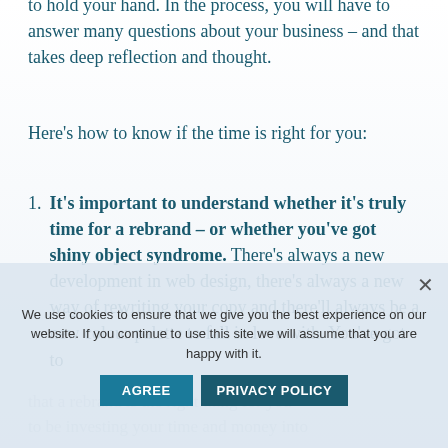to hold your hand. In the process, you will have to answer many questions about your business – and that takes deep reflection and thought.
Here's how to know if the time is right for you:
It's important to understand whether it's truly time for a rebrand – or whether you've got shiny object syndrome. There's always a new development in web design, there's always a new way of rewriting your copy and there'll always be a new colour palette to fall in love with. You've got to be sure that a rebrand is the right thing for you to be investing your time and money into at this point...
We use cookies to ensure that we give you the best experience on our website. If you continue to use this site we will assume that you are happy with it.